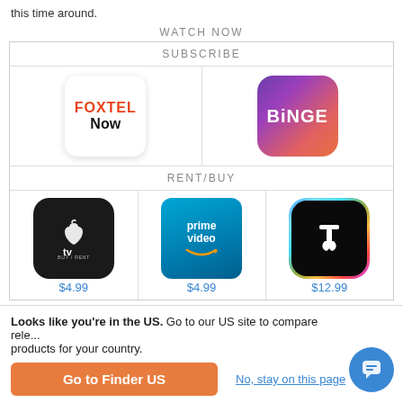this time around.
WATCH NOW
| SUBSCRIBE |  | RENT/BUY |  |  |
| --- | --- | --- | --- | --- |
| Foxtel Now | BINGE |
| Apple TV BUY/RENT $4.99 | prime video $4.99 | Telstra $12.99 |
Trailer
Watch trailer
Looks like you're in the US. Go to our US site to compare rele... products for your country.
Go to Finder US
No, stay on this page